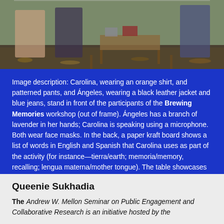[Figure (photo): Outdoor photo showing two women standing in front of workshop participants. A picnic table with plants, jars of honey, apples, and a speaker is visible. Autumn leaves on the ground.]
Image description: Carolina, wearing an orange shirt, and patterned pants, and Ángeles, wearing a black leather jacket and blue jeans, stand in front of the participants of the Brewing Memories workshop (out of frame). Ángeles has a branch of lavender in her hands; Carolina is speaking using a microphone. Both wear face masks. In the back, a paper kraft board shows a list of words in English and Spanish that Carolina uses as part of the activity (for instance—tierra/earth; memoria/memory, recalling; lengua materna/mother tongue). The table showcases the different plants participants will learn about during the workshop, and jars of honey. There is also a crate with apples, a box with pan de muerto participants will share at the end, and a speaker.
Photo by Cinthya Santos-Briones for Brewing Memories workshop, October 24, 2020.
Queenie Sukhadia
The Andrew W. Mellon Seminar on Public Engagement and Collaborative Research is an initiative hosted by the